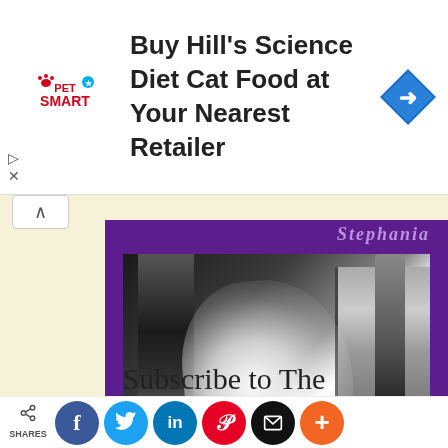[Figure (other): PetSmart advertisement banner: 'Buy Hill's Science Diet Cat Food at Your Nearest Retailer' with PetSmart logo and blue navigation arrow icon]
[Figure (photo): Book cover with purple background showing a black and white photograph of a ghostly white figure in an interior hallway/staircase with brick walls and a window. Partial author name visible at top.]
Subscribe to The
[Figure (other): Social sharing bar with share icon and SHARES label, followed by circular buttons: Facebook (blue), Twitter (light blue), LinkedIn (dark blue), Pinterest (red), Email (black), More (orange)]